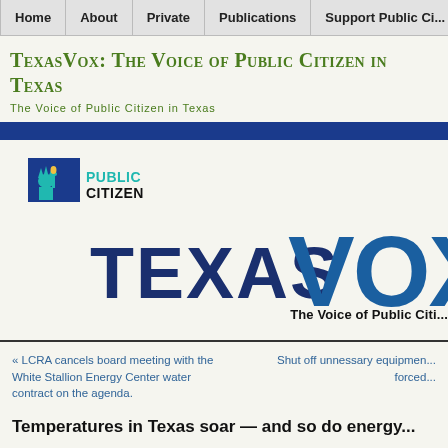Home | About | Private | Publications | Support Public Ci...
TexasVox: The Voice of Public Citizen in Texas
The Voice of Public Citizen in Texas
[Figure (logo): Public Citizen logo with Statue of Liberty icon and 'PUBLIC CITIZEN' text in teal, followed by large 'TEXAS VOX' text in dark blue and tagline 'The Voice of Public Citi...']
« LCRA cancels board meeting with the White Stallion Energy Center water contract on the agenda.
Shut off unnessary equipmen... forced...
Temperatures in Texas soar — and so do energy...